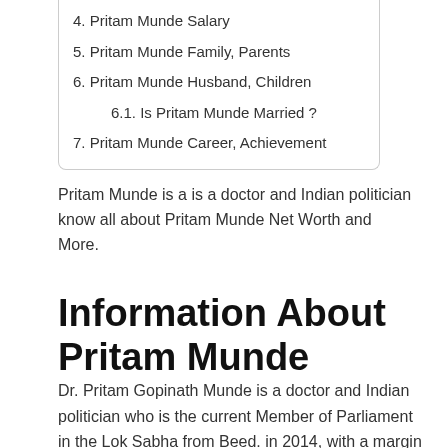4. Pritam Munde Salary
5. Pritam Munde Family, Parents
6. Pritam Munde Husband, Children
6.1. Is Pritam Munde Married ?
7. Pritam Munde Career, Achievement
Pritam Munde is a is a doctor and Indian politician know all about Pritam Munde Net Worth and More.
Information About Pritam Munde
Dr. Pritam Gopinath Munde is a doctor and Indian politician who is the current Member of Parliament in the Lok Sabha from Beed. in 2014, with a margin of 6,96,321 votes – the highest ever in India's electoral history. She is